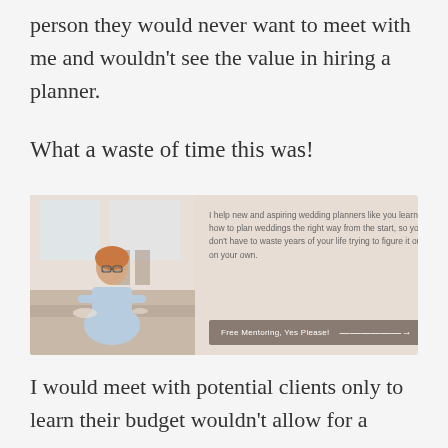person they would never want to meet with me and wouldn't see the value in hiring a planner.
What a waste of time this was!
[Figure (infographic): Promotional banner with beige background. Left side shows a photo of a woman with glasses in a light blue shirt sitting at a table in a bright room. Right side contains text: 'I help new and aspiring wedding planners like you learn how to plan weddings the right way from the start, so you don't have to waste years of your life trying to figure it out on your own.' Below is a button reading 'Free Mentoring, Yes Please!' with an arrow.]
I would meet with potential clients only to learn their budget wouldn't allow for a planner in the first place. Or...